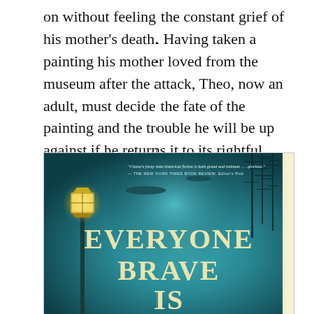on without feeling the constant grief of his mother's death. Having taken a painting his mother loved from the museum after the attack, Theo, now an adult, must decide the fate of the painting and the trouble he will be up against if he returns it to its rightful owner.
[Figure (photo): Book cover of 'Everyone Brave Is...' with a teal/dark blue atmospheric background showing WWII bombers flying overhead, a glowing gas lamp on the left, tree silhouettes on the right, and large text reading 'EVERYONE BRAVE IS' in cream/gold letters. A quote at the top reads: 'Cleave's foray into historical fiction is both grand and intimate . . . glorious.' — THE NEW YORK TIMES BOOK REVIEW, Editor's Pick]